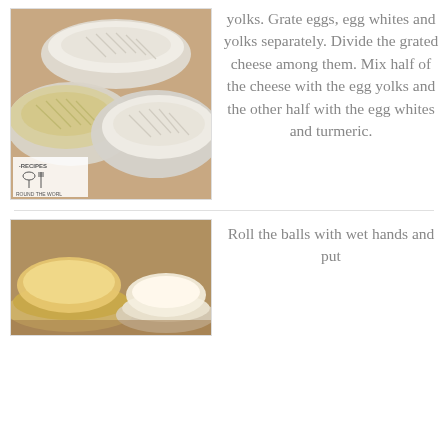[Figure (photo): Three glass bowls containing grated cheese/egg ingredients on a table, with a small watermark logo reading 'RECIPES ROUND THE WORLD' in the bottom left corner.]
yolks. Grate eggs, egg whites and yolks separately. Divide the grated cheese among them. Mix half of the cheese with the egg yolks and the other half with the egg whites and turmeric.
[Figure (photo): Close-up of flattened dough or cheese balls on a plate.]
Roll the balls with wet hands and put